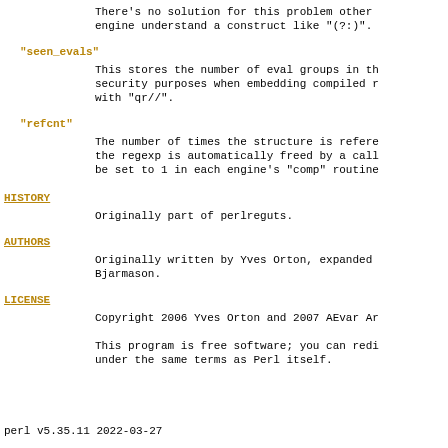There's no solution for this problem other than making the engine understand a construct like "(?:)".
"seen_evals"
This stores the number of eval groups in the regexp for security purposes when embedding compiled regexps created with "qr//".
"refcnt"
The number of times the structure is referenced. When the regexp is automatically freed by a call its refcnt should be set to 1 in each engine's "comp" routine.
HISTORY
Originally part of perlreguts.
AUTHORS
Originally written by Yves Orton, expanded by Ævar Arnfjörð Bjarmason.
LICENSE
Copyright 2006 Yves Orton and 2007 AEvar Ar
This program is free software; you can redistribute it and/or modify it under the same terms as Perl itself.
perl v5.35.11                              2022-03-27